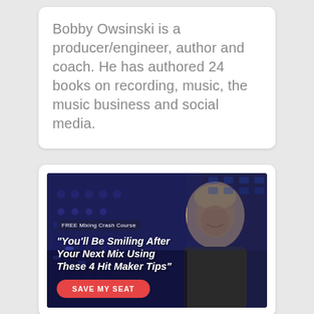Bobby Owsinski is a producer/engineer, author and coach. He has authored 24 books on recording, music, the music business and social media.
[Figure (photo): Promotional ad image for a FREE Mixing Crash Course featuring a smiling man (Bobby Owsinski) against a dark blue mixing board background. Text overlay reads: 'FREE Mixing Crash Course' and '"You'll Be Smiling After Your Next Mix Using These 4 Hit Maker Tips"' with a red 'SAVE MY SEAT' button.]